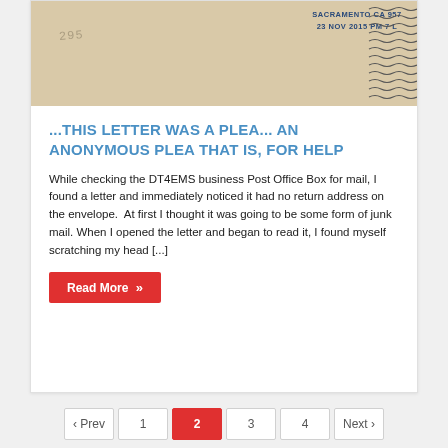[Figure (photo): Envelope photo showing a postmark from Sacramento CA 957, dated 23 NOV 2015 PM 7 L, with wavy cancellation lines on the right side.]
...THIS LETTER WAS A PLEA... AN ANONYMOUS PLEA THAT IS, FOR HELP
While checking the DT4EMS business Post Office Box for mail, I found a letter and immediately noticed it had no return address on the envelope.  At first I thought it was going to be some form of junk mail. When I opened the letter and began to read it, I found myself scratching my head [...]
Read More »
‹ Prev  1  2  3  4  Next ›